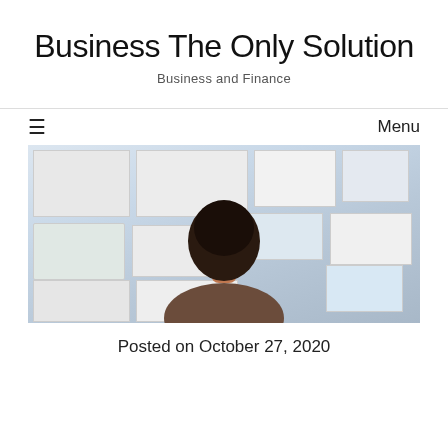Business The Only Solution
Business and Finance
Menu
[Figure (photo): Person seen from behind looking at a wall covered with papers, charts, and documents pinned up — a planning or brainstorming wall.]
Posted on October 27, 2020